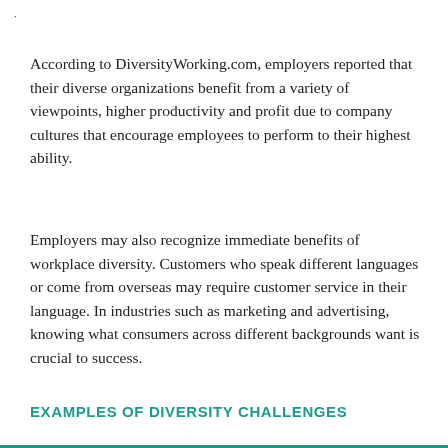According to DiversityWorking.com, employers reported that their diverse organizations benefit from a variety of viewpoints, higher productivity and profit due to company cultures that encourage employees to perform to their highest ability.
Employers may also recognize immediate benefits of workplace diversity. Customers who speak different languages or come from overseas may require customer service in their language. In industries such as marketing and advertising, knowing what consumers across different backgrounds want is crucial to success.
EXAMPLES OF DIVERSITY CHALLENGES